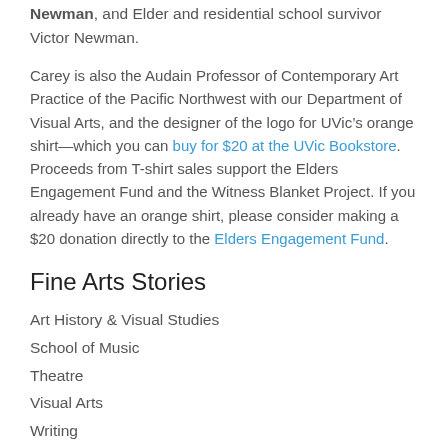Newman, and Elder and residential school survivor Victor Newman.
Carey is also the Audain Professor of Contemporary Art Practice of the Pacific Northwest with our Department of Visual Arts, and the designer of the logo for UVic’s orange shirt—which you can buy for $20 at the UVic Bookstore. Proceeds from T-shirt sales support the Elders Engagement Fund and the Witness Blanket Project. If you already have an orange shirt, please consider making a $20 donation directly to the Elders Engagement Fund.
Fine Arts Stories
Art History & Visual Studies
School of Music
Theatre
Visual Arts
Writing